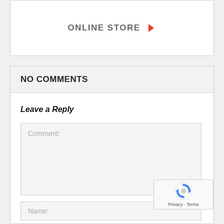ONLINE STORE
NO COMMENTS
Leave a Reply
Comment:
Name: